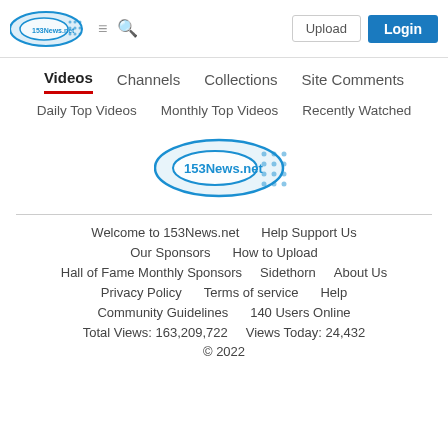[Figure (logo): 153News.net logo in top-left header bar]
Upload  Login
Videos  Channels  Collections  Site Comments
Daily Top Videos  Monthly Top Videos  Recently Watched
[Figure (logo): 153News.net center logo]
Welcome to 153News.net  Help Support Us  Our Sponsors  How to Upload  Hall of Fame Monthly Sponsors  Sidethorn  About Us  Privacy Policy  Terms of service  Help  Community Guidelines  140 Users Online  Total Views: 163,209,722  Views Today: 24,432
© 2022